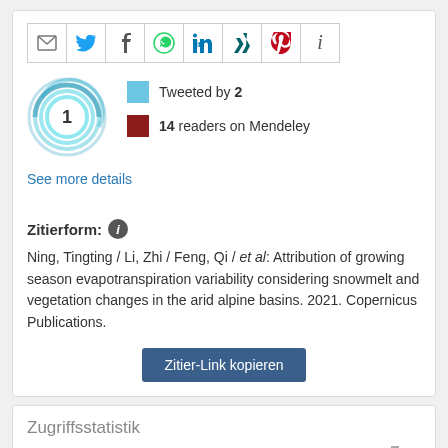[Figure (infographic): Social share buttons: email, Twitter, Facebook, WhatsApp, LinkedIn, Xing, Pinterest, Info]
[Figure (infographic): Altmetric badge showing score 1 with blue swirl, tweeted by 2 (light blue square), 14 readers on Mendeley (dark red square)]
See more details
Zitierform:
Ning, Tingting / Li, Zhi / Feng, Qi / et al: Attribution of growing season evapotranspiration variability considering snowmelt and vegetation changes in the arid alpine basins. 2021. Copernicus Publications.
Zitier-Link kopieren
Zugriffsstatistik